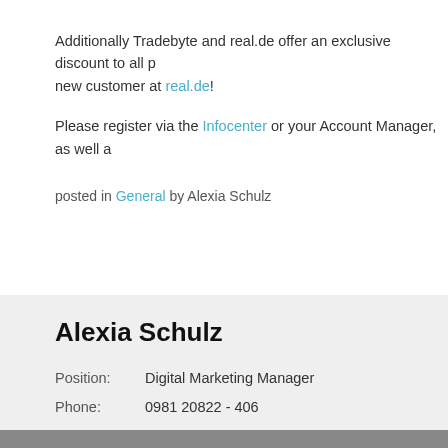Additionally Tradebyte and real.de offer an exclusive discount to all p... new customer at real.de!
Please register via the Infocenter or your Account Manager, as well a...
posted in General by Alexia Schulz
| Alexia Schulz |  |
| Position: | Digital Marketing Manager |
| Phone: | 0981 20822 - 406 |
| E-mail: | Alexia.Schulz@Tradebyte.com |